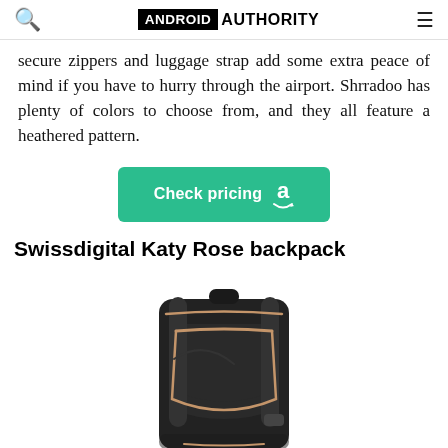ANDROID AUTHORITY
secure zippers and luggage strap add some extra peace of mind if you have to hurry through the airport. Shrradoo has plenty of colors to choose from, and they all feature a heathered pattern.
[Figure (other): Green 'Check pricing' button with Amazon logo]
Swissdigital Katy Rose backpack
[Figure (photo): Black backpack with rose gold zippers - Swissdigital Katy Rose backpack product photo]